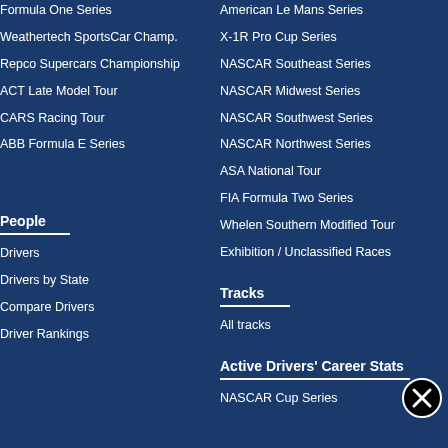Formula One Series
Weathertech SportsCar Champ.
Repco Supercars Championship
ACT Late Model Tour
CARS Racing Tour
ABB Formula E Series
American Le Mans Series
X-1R Pro Cup Series
NASCAR Southeast Series
NASCAR Midwest Series
NASCAR Southwest Series
NASCAR Northwest Series
ASA National Tour
FIA Formula Two Series
Whelen Southern Modified Tour
Exhibition / Unclassified Races
People
Drivers
Drivers by State
Compare Drivers
Driver Rankings
Tracks
All tracks
Active Drivers' Career Stats
NASCAR Cup Series